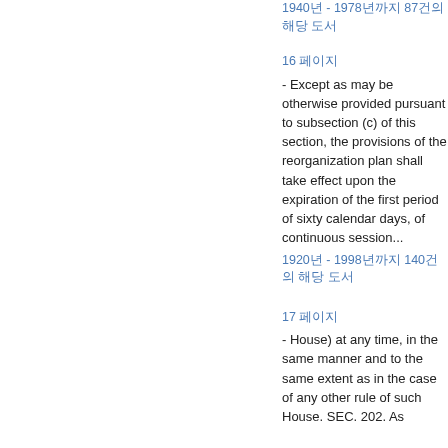1940년 - 1978년까지 87건의 해당 도서
16 페이지 - Except as may be otherwise provided pursuant to subsection (c) of this section, the provisions of the reorganization plan shall take effect upon the expiration of the first period of sixty calendar days, of continuous session...
1920년 - 1998년까지 140건의 해당 도서
17 페이지 - House) at any time, in the same manner and to the same extent as in the case of any other rule of such House. SEC. 202. As